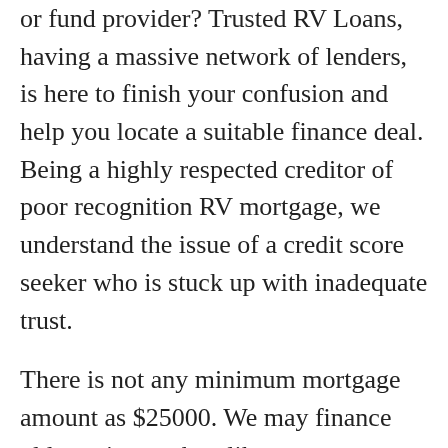or fund provider? Trusted RV Loans, having a massive network of lenders, is here to finish your confusion and help you locate a suitable finance deal. Being a highly respected creditor of poor recognition RV mortgage, we understand the issue of a credit score seeker who is stuck up with inadequate trust.
There is not any minimum mortgage amount as $25000. We may finance older units much unlike our opponents who fund RVs less than a decade old. Whether one has a fantastic financial standing listing or a poor or discredit rv finance one, acceptance for RV financing starts from our network of creditors. We've got a good network of lenders under our belt to provide you poor credit RV mortgage. For people who have a bad trust rating or a busted financial standing file, they feel that perhaps there is absolutely no expectation for them. Most of the loan